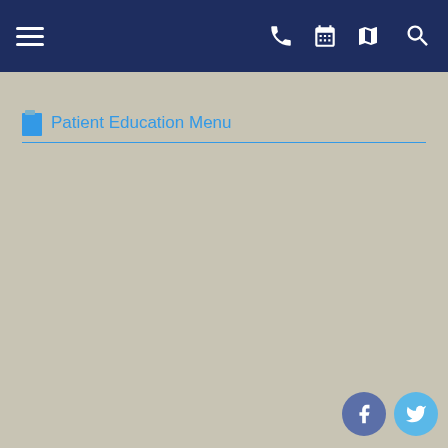Navigation bar with menu, phone, calendar, map, and search icons
Patient Education Menu
[Figure (screenshot): Social media icons: Facebook and Twitter buttons in bottom right corner]